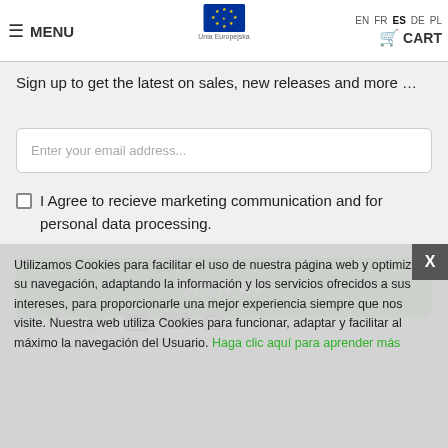MENU | Unia Europejska | EN FR ES DE PL | CART
Sign up to get the latest on sales, new releases and more …
Enter your email address...
I Agree to recieve marketing communication and for personal data processing.
SIGN UP
Utilizamos Cookies para facilitar el uso de nuestra página web y optimizar su navegación, adaptando la información y los servicios ofrecidos a sus intereses, para proporcionarle una mejor experiencia siempre que nos visite. Nuestra web utiliza Cookies para funcionar, adaptar y facilitar al máximo la navegación del Usuario. Haga clic aquí para aprender más